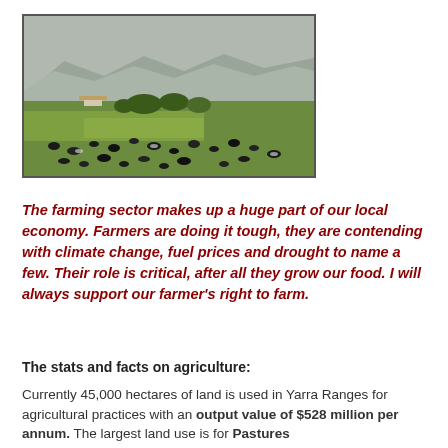[Figure (photo): Aerial/landscape view of a farm with dairy cattle grazing on green fields, with hills and mountains in the background.]
The farming sector makes up a huge part of our local economy. Farmers are doing it tough, they are contending with climate change, fuel prices and drought to name a few. Their role is critical, after all they grow our food. I will always support our farmer's right to farm.
The stats and facts on agriculture:
Currently 45,000 hectares of land is used in Yarra Ranges for agricultural practices with an output value of $528 million per annum. The largest land use is for Pastures